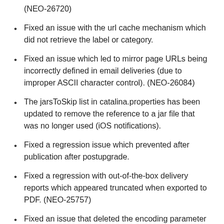(NEO-26720)
Fixed an issue with the url cache mechanism which did not retrieve the label or category.
Fixed an issue which led to mirror page URLs being incorrectly defined in email deliveries (due to improper ASCII character control). (NEO-26084)
The jarsToSkip list in catalina.properties has been updated to remove the reference to a jar file that was no longer used (iOS notifications).
Fixed a regression issue which prevented after publication after postupgrade.
Fixed a regression with out-of-the-box delivery reports which appeared truncated when exported to PDF. (NEO-25757)
Fixed an issue that deleted the encoding parameter value